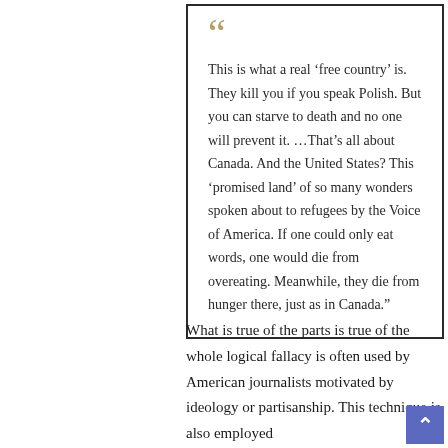This is what a real ‘free country’ is. They kill you if you speak Polish. But you can starve to death and no one will prevent it. …That’s all about Canada. And the United States? This ‘promised land’ of so many wonders spoken about to refugees by the Voice of America. If one could only eat words, one would die from overeating. Meanwhile, they die from hunger there, just as in Canada.”
What is true of the parts is true of the whole logical fallacy is often used by American journalists motivated by ideology or partisanship. This technique is also employed